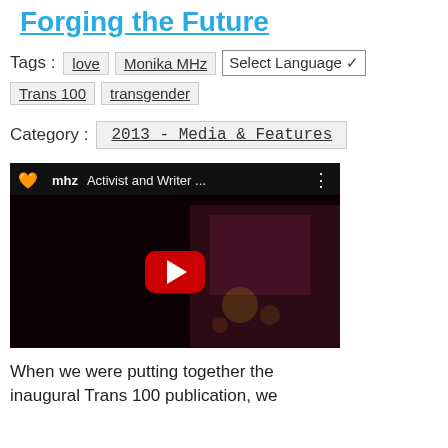Forging the Future
Tags : love  Monika MHz  [Select Language]  Trans 100  transgender
Category : 2013 - Media & Features
[Figure (screenshot): YouTube video thumbnail showing 'Activist and Writer ...' with a rainbow heart MHz logo and red play button over a dark scene]
When we were putting together the inaugural Trans 100 publication, we